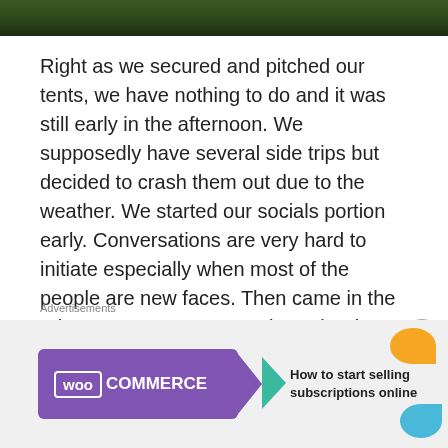[Figure (photo): Partial view of a green grassy outdoor scene at the top of the page]
Right as we secured and pitched our tents, we have nothing to do and it was still early in the afternoon. We supposedly have several side trips but decided to crash them out due to the weather. We started our socials portion early. Conversations are very hard to initiate especially when most of the people are new faces. Then came in the “ping-pang-pong” game where the “it” gets to choose either Truth or Dare. Of course, the funny moments came from the “Dare”. We laughed and got to shrug the awkwardness off from our skins
Advertisements
[Figure (screenshot): WooCommerce advertisement banner: purple box with WooCommerce logo and arrow, text reading 'How to start selling subscriptions online', orange and blue decorative shapes on right]